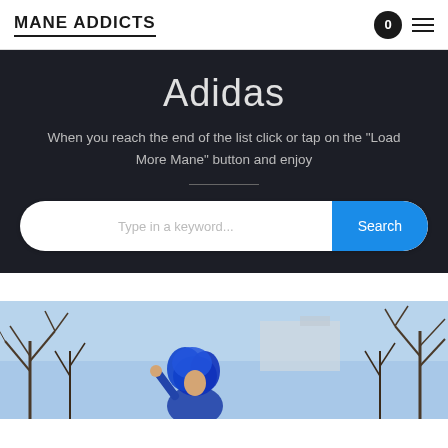MANE ADDICTS
Adidas
When you reach the end of the list click or tap on the "Load More Mane" button and enjoy
[Figure (screenshot): Search bar with placeholder text 'Type in a keyword...' and a blue 'Search' button on the right]
[Figure (photo): A person with blue hair/wig outdoors with bare trees in the background against a light blue sky]